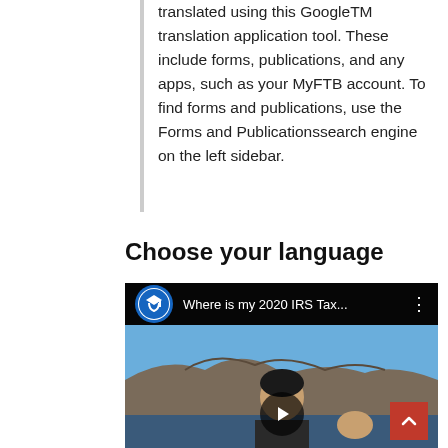translated using this GoogleTM translation application tool. These include forms, publications, and any apps, such as your MyFTB account. To find forms and publications, use the Forms and Publicationssearch engine on the left sidebar.
Choose your language
[Figure (screenshot): YouTube video thumbnail showing a man outdoors with coastal cliffs in background. Video title bar reads 'Where is my 2020 IRS Tax...' with a channel logo (blue graduation cap icon). A play button is visible at the bottom center. A red scroll-to-top button appears at bottom right.]